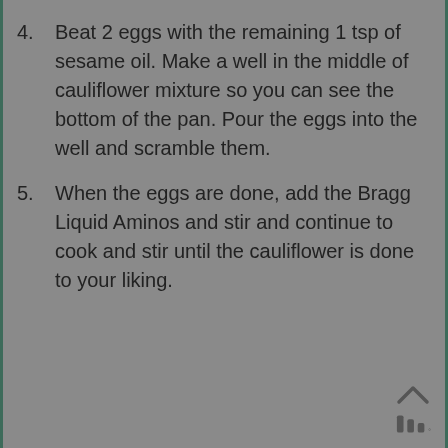4. Beat 2 eggs with the remaining 1 tsp of sesame oil. Make a well in the middle of cauliflower mixture so you can see the bottom of the pan. Pour the eggs into the well and scramble them.
5. When the eggs are done, add the Bragg Liquid Aminos and stir and continue to cook and stir until the cauliflower is done to your liking.